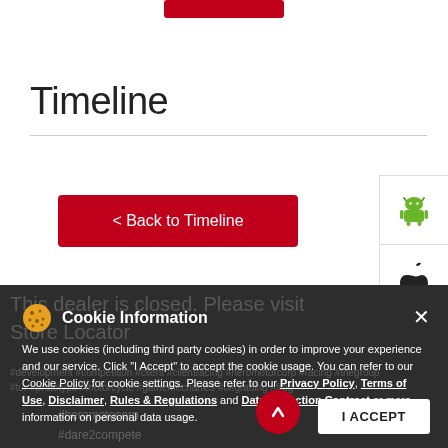[Figure (other): Red button at top center of page (partially visible)]
Timeline
[Figure (other): Back to Timeline red button]
[Figure (other): Android and Apple app store icons in right panel]
This dealer is closed. Please visit Store Locator
#heromotocorl #dare2compete
[Figure (screenshot): Cookie Information banner overlay with text: We use cookies (including third party cookies) in order to improve your experience and our service. Click "I Accept" to accept the cookie usage. You can refer to our Cookie Policy for cookie settings. Please refer to our Privacy Policy, Terms of Use, Disclaimer, Rules & Regulations and Data Collection Contract or more information on personal data usage.]
I ACCEPT